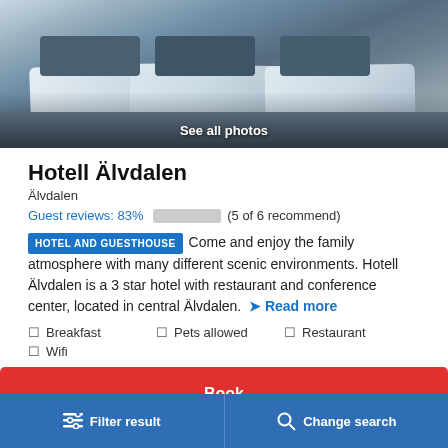[Figure (photo): Hotel room photo showing neatly made beds with white linens and dark blue/grey pillows and cushions. A 'See all photos' label overlays the bottom of the image.]
Hotell Älvdalen
Älvdalen
Guest reviews: 83% (5 of 6 recommend)
HOTEL AND GUESTHOUSE Come and enjoy the family atmosphere with many different scenic environments. Hotell Älvdalen is a 3 star hotel with restaurant and conference center, located in central Älvdalen. Read more
Breakfast
Pets allowed
Restaurant
Wifi
Book
Filter result   Change search